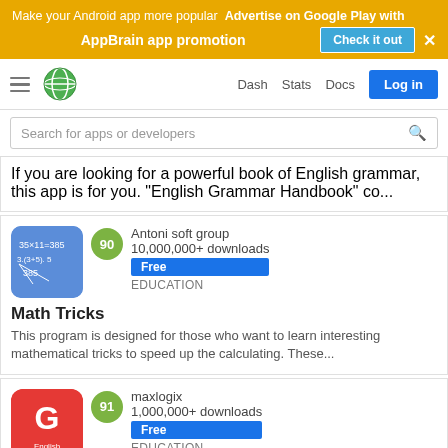[Figure (screenshot): AppBrain advertisement banner: yellow background with text 'Make your Android app more popular Advertise on Google Play with AppBrain app promotion' and a 'Check it out' button]
[Figure (screenshot): Navigation bar with hamburger menu, AppBrain globe logo, Dash, Stats, Docs links, and Log in button]
[Figure (screenshot): Search bar with placeholder text 'Search for apps or developers']
If you are looking for a powerful book of English grammar, this app is for you. "English Grammar Handbook" co...
[Figure (screenshot): Math Tricks app icon - blue background with equations 35x11=385]
Antoni soft group
10,000,000+ downloads
EDUCATION
Math Tricks
This program is designed for those who want to learn interesting mathematical tricks to speed up the calculating. These...
[Figure (screenshot): English Grammar Ultimate app icon - red rounded square with white G letter and English text]
maxlogix
1,000,000+ downloads
EDUCATION
English Grammar Ultimate
☆ ☆ ☆ ENGLISH GRAMMAR ULTIMATE (Grammar now in my pocket) ☆